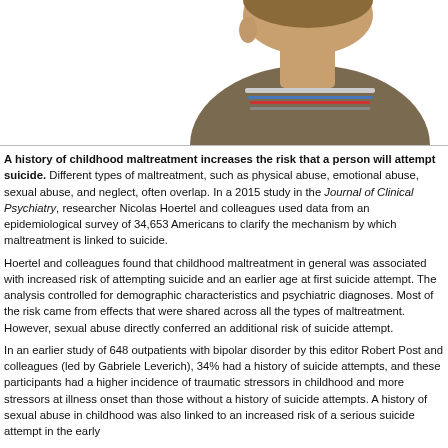[Figure (photo): A young boy seen from behind/side, wearing a brown striped t-shirt, looking away on a white background]
A history of childhood maltreatment increases the risk that a person will attempt suicide. Different types of maltreatment, such as physical abuse, emotional abuse, sexual abuse, and neglect, often overlap. In a 2015 study in the Journal of Clinical Psychiatry, researcher Nicolas Hoertel and colleagues used data from an epidemiological survey of 34,653 Americans to clarify the mechanism by which maltreatment is linked to suicide.
Hoertel and colleagues found that childhood maltreatment in general was associated with increased risk of attempting suicide and an earlier age at first suicide attempt. The analysis controlled for demographic characteristics and psychiatric diagnoses. Most of the risk came from effects that were shared across all the types of maltreatment. However, sexual abuse directly conferred an additional risk of suicide attempt.
In an earlier study of 648 outpatients with bipolar disorder by this editor Robert Post and colleagues (led by Gabriele Leverich), 34% had a history of suicide attempts, and these participants had a higher incidence of traumatic stressors in childhood and more stressors at illness onset than those without a history of suicide attempts. A history of sexual abuse in childhood was also linked to an increased risk of a serious suicide attempt in the early